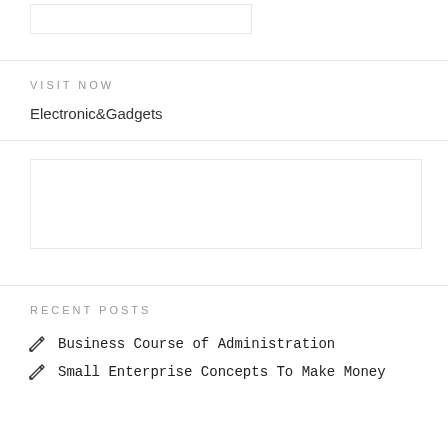[Figure (other): Empty input box / search field at top]
VISIT NOW
Electronic&Gadgets
[Figure (other): Empty advertisement or content box]
RECENT POSTS
Business Course of Administration
Small Enterprise Concepts To Make Money